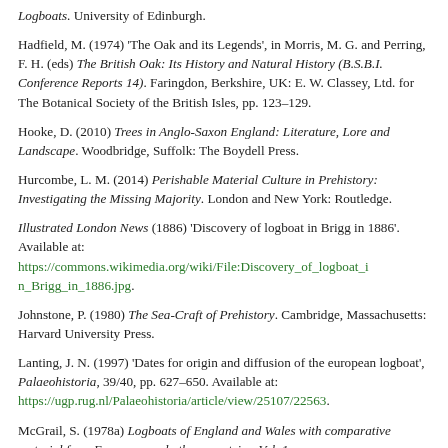Logboats. University of Edinburgh.
Hadfield, M. (1974) 'The Oak and its Legends', in Morris, M. G. and Perring, F. H. (eds) The British Oak: Its History and Natural History (B.S.B.I. Conference Reports 14). Faringdon, Berkshire, UK: E. W. Classey, Ltd. for The Botanical Society of the British Isles, pp. 123–129.
Hooke, D. (2010) Trees in Anglo-Saxon England: Literature, Lore and Landscape. Woodbridge, Suffolk: The Boydell Press.
Hurcombe, L. M. (2014) Perishable Material Culture in Prehistory: Investigating the Missing Majority. London and New York: Routledge.
Illustrated London News (1886) 'Discovery of logboat in Brigg in 1886'. Available at: https://commons.wikimedia.org/wiki/File:Discovery_of_logboat_in_Brigg_in_1886.jpg.
Johnstone, P. (1980) The Sea-Craft of Prehistory. Cambridge, Massachusetts: Harvard University Press.
Lanting, J. N. (1997) 'Dates for origin and diffusion of the european logboat', Palaeohistoria, 39/40, pp. 627–650. Available at: https://ugp.rug.nl/Palaeohistoria/article/view/25107/22563.
McGrail, S. (1978a) Logboats of England and Wales with comparative material from European and other countries, Vol. 1.